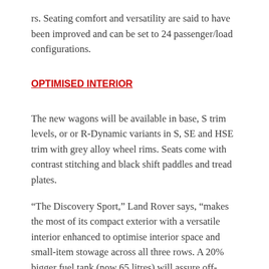rs. Seating comfort and versatility are said to have been improved and can be set to 24 passenger/load configurations.
OPTIMISED INTERIOR
The new wagons will be available in base, S trim levels, or or R-Dynamic variants in S, SE and HSE trim with grey alloy wheel rims. Seats come with contrast stitching and black shift paddles and tread plates.
“The Discovery Sport,” Land Rover says, “makes the most of its compact exterior with a versatile interior enhanced to optimise interior space and small-item stowage across all three rows. A 20% bigger fuel tank (now 65 litres) will assure off-roaders…”